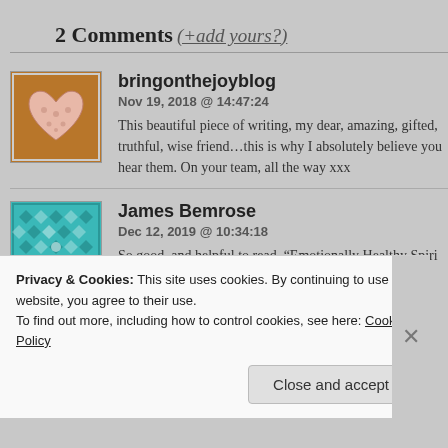2 Comments (+add yours?)
bringonthejoyblog
Nov 19, 2018 @ 14:47:24
This beautiful piece of writing, my dear, amazing, gifted, truthful, wise friend…this is why I absolutely believe you hear them. On your team, all the way xxx
James Bemrose
Dec 12, 2019 @ 10:34:18
So good, and helpful to read. “Emotionally Healthy Spiri
Privacy & Cookies: This site uses cookies. By continuing to use this website, you agree to their use.
To find out more, including how to control cookies, see here: Cookie Policy
Close and accept